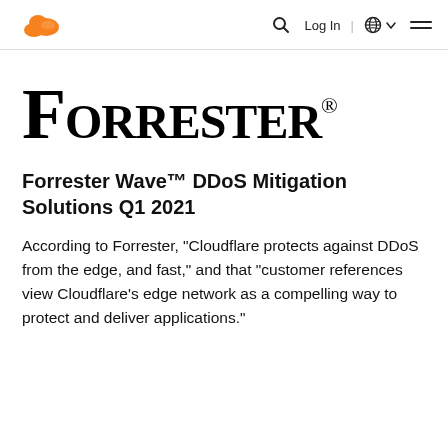Cloudflare navigation bar with logo, search, Log In, globe language selector, and hamburger menu
[Figure (logo): Forrester® wordmark logo in large serif small-caps font]
Forrester Wave™ DDoS Mitigation Solutions Q1 2021
According to Forrester, "Cloudflare protects against DDoS from the edge, and fast," and that "customer references view Cloudflare's edge network as a compelling way to protect and deliver applications."